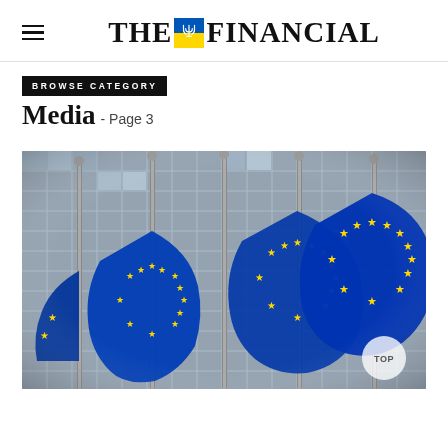THE FINANCIAL
BROWSE CATEGORY
Media - Page 3
[Figure (photo): Multiple European Union flags on flagpoles in front of a modern glass building (European Commission headquarters in Brussels). Flags are blue with yellow stars, waving in the wind. Photo taken from a low angle. A 'TOP' button is visible in the lower right corner of the image.]